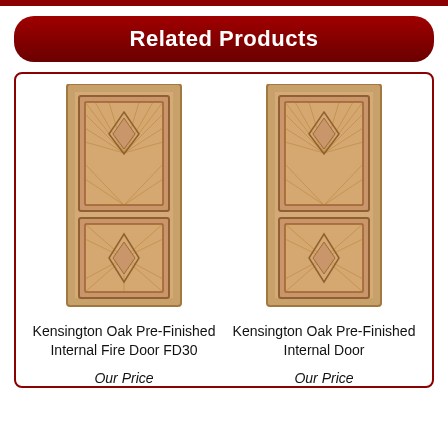Related Products
[Figure (photo): Kensington Oak pre-finished internal fire door FD30 — two-panel oak door with diamond veneer pattern]
Kensington Oak Pre-Finished Internal Fire Door FD30
Our Price
[Figure (photo): Kensington Oak pre-finished internal door — two-panel oak door with diamond veneer pattern]
Kensington Oak Pre-Finished Internal Door
Our Price